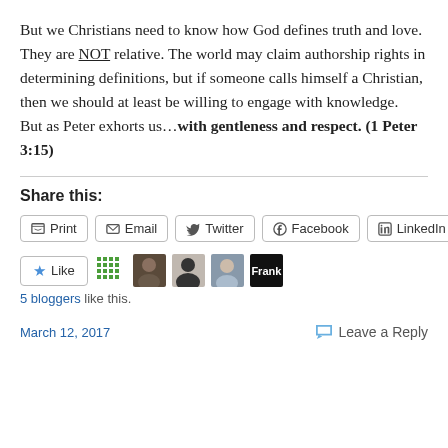But we Christians need to know how God defines truth and love.  They are NOT relative. The world may claim authorship rights in determining definitions, but if someone calls himself a Christian, then we should at least be willing to engage with knowledge.  But as Peter exhorts us…with gentleness and respect. (1 Peter 3:15)
Share this:
Print | Email | Twitter | Facebook | LinkedIn
Like | [avatars] — 5 bloggers like this.
March 12, 2017   Leave a Reply